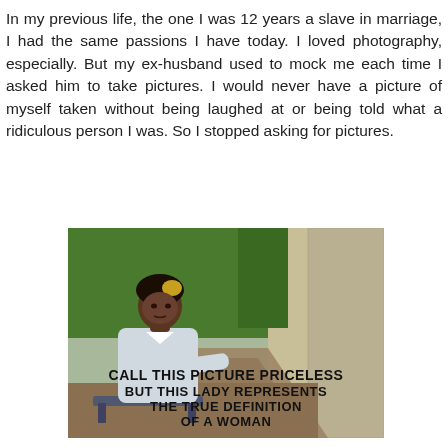In my previous life, the one I was 12 years a slave in marriage, I had the same passions I have today. I loved photography, especially. But my ex-husband used to mock me each time I asked him to take pictures. I would never have a picture of myself taken without being laughed at or being told what a ridiculous person I was. So I stopped asking for pictures.
[Figure (photo): A woman with braided hair with yellow highlights sitting on a bench in a park. She is wearing a white top. In the foreground is a path/walkway, green grass in the background, and a stone wall on the right. Overlaid text reads: CALL THIS PICTURE PRICELESS / BUT THIS LADY REPRESENTS / THE TRUE DEFINITION / OF A WOMAN]